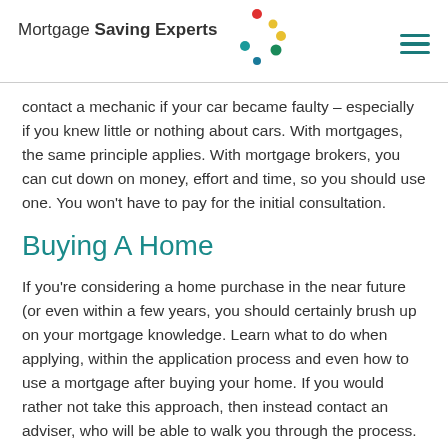Mortgage Saving Experts
contact a mechanic if your car became faulty – especially if you knew little or nothing about cars. With mortgages, the same principle applies. With mortgage brokers, you can cut down on money, effort and time, so you should use one. You won't have to pay for the initial consultation.
Buying A Home
If you're considering a home purchase in the near future (or even within a few years, you should certainly brush up on your mortgage knowledge. Learn what to do when applying, within the application process and even how to use a mortgage after buying your home. If you would rather not take this approach, then instead contact an adviser, who will be able to walk you through the process.